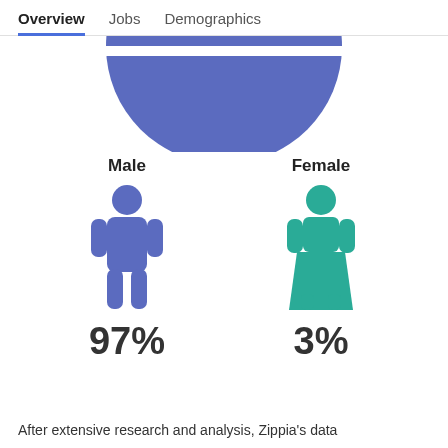Overview   Jobs   Demographics
[Figure (donut-chart): Partial donut/pie chart showing gender distribution (blue segment visible at top), cropped at top of view]
Male
[Figure (infographic): Blue male figure icon]
97%
Female
[Figure (infographic): Teal female figure icon]
3%
After extensive research and analysis, Zippia's data